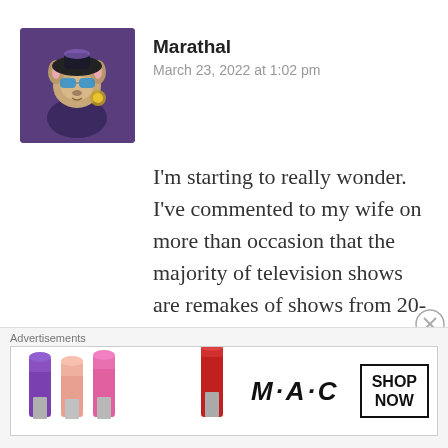Marathal
March 23, 2022 at 1:02 pm
[Figure (illustration): Avatar image of a fantasy character (anthropomorphic creature with goggles and armor) used as a user profile picture]
I’m starting to really wonder. I’ve commented to my wife on more than occasion that the majority of television shows are remakes of shows from 20-30 years ago, updated, or with a slight twist. And I’m wondering, are there
Advertisements
[Figure (photo): MAC Cosmetics advertisement banner showing lipsticks (purple, pink, coral, red) with MAC logo and SHOP NOW button]